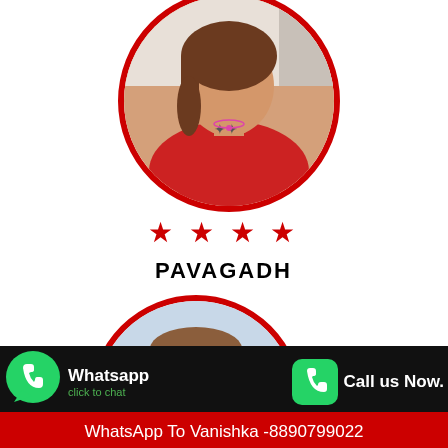[Figure (photo): Circular portrait photo of a young woman in a red top with a tattoo, framed by a thick red circular border. Top half of page.]
★ ★ ★ ★
PAVAGADH
[Figure (photo): Circular portrait photo of a young woman with bangs, framed by a thick red circular border. Lower section of page.]
Whatsapp
click to chat
Call us Now.
Call Vanishka Now - 8890799022
WhatsApp To Vanishka -8890799022
★ ★ ★